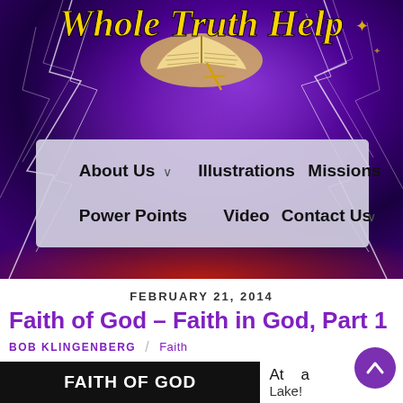[Figure (screenshot): Website hero banner with purple lightning background, gold italic title 'Whole Truth Help' and an open Bible illustration]
Whole Truth Help
About Us
Illustrations
Missions
Power Points
Video
Contact Us
FEBRUARY 21, 2014
Faith of God – Faith in God, Part 1
BOB KLINGENBERG / Faith
[Figure (illustration): Black and white 'FAITH OF GOD' logo banner image at the bottom of the page]